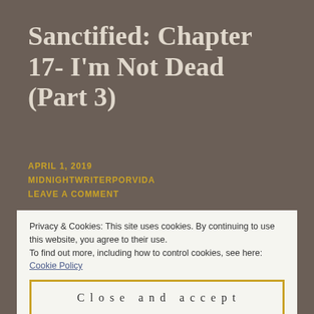Sanctified: Chapter 17- I'm Not Dead (Part 3)
APRIL 1, 2019
MIDNIGHTWRITERPORVIDA
LEAVE A COMMENT
A needle-fingered monster bust through
The window and tackled Sedequa
Privacy & Cookies: This site uses cookies. By continuing to use this website, you agree to their use.
To find out more, including how to control cookies, see here: Cookie Policy
Close and accept
It had four hands and in the shape of